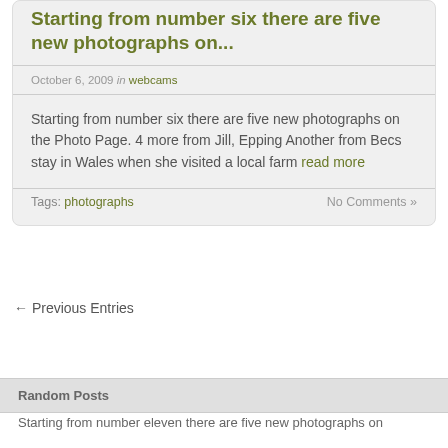Starting from number six there are five new photographs on...
October 6, 2009 in webcams
Starting from number six there are five new photographs on the Photo Page. 4 more from Jill, Epping Another from Becs stay in Wales when she visited a local farm read more
Tags: photographs    No Comments »
← Previous Entries
Random Posts
Starting from number eleven there are five new photographs on